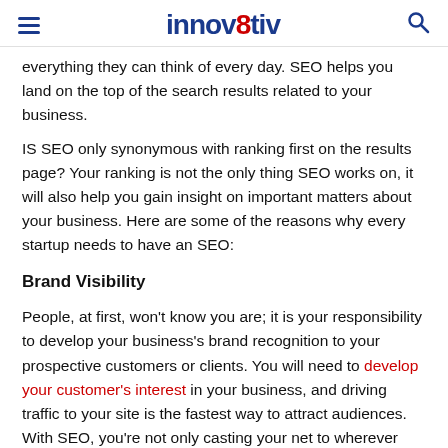innov8tiv
everything they can think of every day. SEO helps you land on the top of the search results related to your business.
IS SEO only synonymous with ranking first on the results page? Your ranking is not the only thing SEO works on, it will also help you gain insight on important matters about your business. Here are some of the reasons why every startup needs to have an SEO:
Brand Visibility
People, at first, won't know you are; it is your responsibility to develop your business's brand recognition to your prospective customers or clients. You will need to develop your customer's interest in your business, and driving traffic to your site is the fastest way to attract audiences. With SEO, you're not only casting your net to wherever you are also strategically targeting audiences who are most likely to benefit from what you offer.
Improves Competitiveness
The DC area has over a thousand restaurants, coffee shops, and